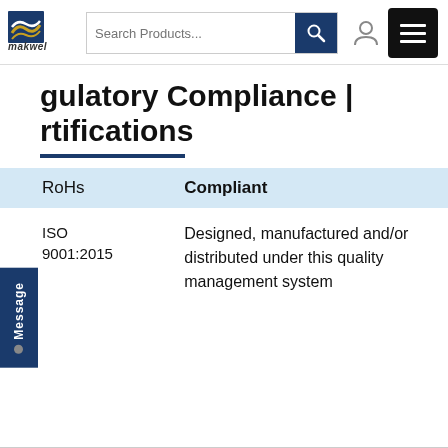[Figure (logo): Makwel company logo with stylized waves and text 'makwel']
Regulatory Compliance | Certifications
|  |  |
| --- | --- |
| RoHs | Compliant |
| ISO 9001:2015 | Designed, manufactured and/or distributed under this quality management system |